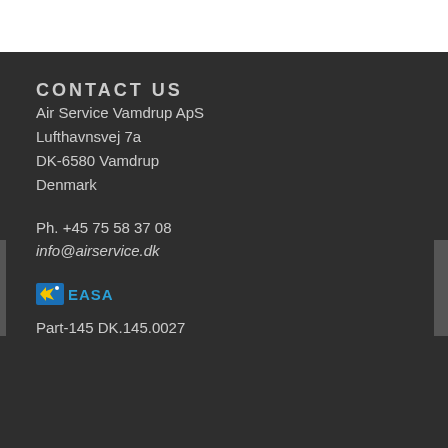CONTACT US
Air Service Vamdrup ApS
Lufthavnsvej 7a
DK-6580 Vamdrup
Denmark
Ph. +45 75 58 37 08
info@airservice.dk
[Figure (logo): EASA logo with yellow and blue arrow/star icon and blue EASA text]
Part-145 DK.145.0027